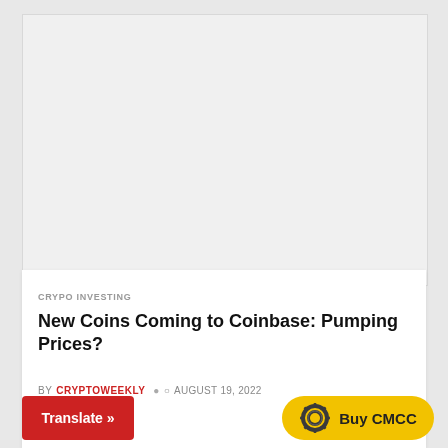[Figure (other): Large gray placeholder advertisement or image area]
CRYPO INVESTING
New Coins Coming to Coinbase: Pumping Prices?
BY CRYPTOWEEKLY  © AUGUST 19, 2022
[Figure (other): Buy CMCC button with gear/coin icon and yellow rounded rectangle background]
[Figure (other): Red Translate button with right arrow]